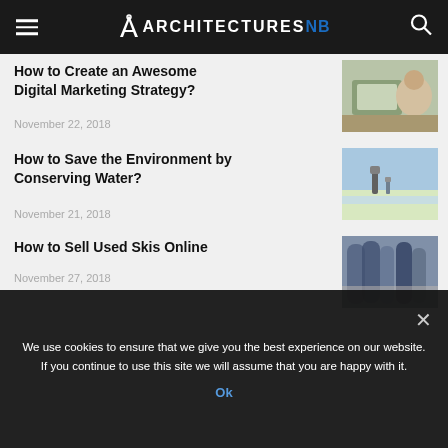ARCHITECTURES NB
How to Create an Awesome Digital Marketing Strategy?
November 22, 2018
[Figure (photo): Person working on laptop outdoors, digital marketing concept]
How to Save the Environment by Conserving Water?
November 21, 2018
[Figure (photo): Adult and child walking on beach near ocean water]
How to Sell Used Skis Online
November 27, 2018
[Figure (photo): Skis and ski equipment on display]
We use cookies to ensure that we give you the best experience on our website. If you continue to use this site we will assume that you are happy with it.
Ok